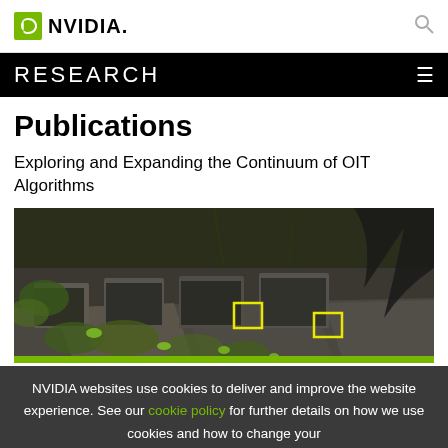NVIDIA RESEARCH
Publications
Exploring and Expanding the Continuum of OIT Algorithms
[Figure (photo): 3D rendered scene of a ruined or overgrown stone pathway/graveyard with green plants and vines, with two small yellow highlight boxes marking areas of interest]
NVIDIA websites use cookies to deliver and improve the website experience. See our cookie policy for further details on how we use cookies and how to change your